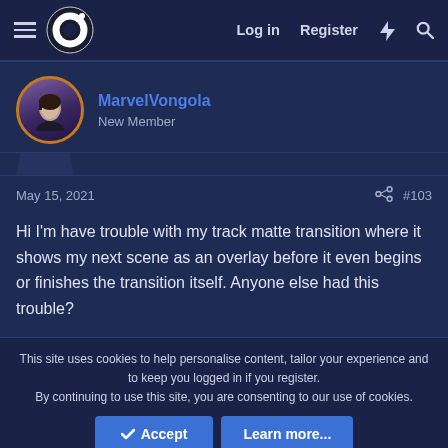Log in  Register
MarvelVongola
New Member
May 15, 2021  #103
Hi I'm have trouble with my track matte transition where it shows my next scene as an overlay before it even begins or finishes the transition itself. Anyone else had this trouble?
This site uses cookies to help personalise content, tailor your experience and to keep you logged in if you register.
By continuing to use this site, you are consenting to our use of cookies.